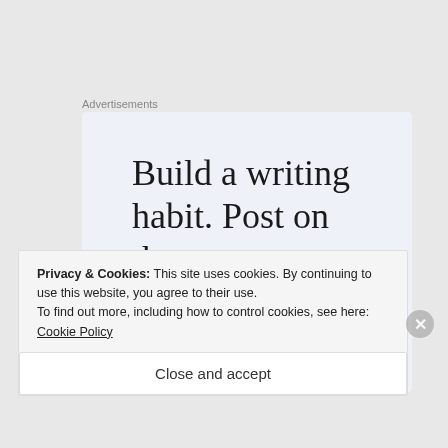Advertisements
[Figure (illustration): Advertisement banner with light blue background. Large serif text reads 'Build a writing habit. Post on the go.' with a blue 'GET THE APP' call-to-action link and WordPress logo icon on the right.]
Privacy & Cookies: This site uses cookies. By continuing to use this website, you agree to their use.
To find out more, including how to control cookies, see here: Cookie Policy
Close and accept